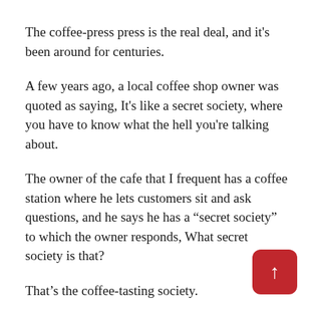The coffee-press press is the real deal, and it's been around for centuries.
A few years ago, a local coffee shop owner was quoted as saying, It's like a secret society, where you have to know what the hell you're talking about.
The owner of the cafe that I frequent has a coffee station where he lets customers sit and ask questions, and he says he has a “secret society” to which the owner responds, What secret society is that?
That’s the coffee-tasting society.
I know people are always talking about “the secret society” and “the coffee-sipping society,” but that’s just